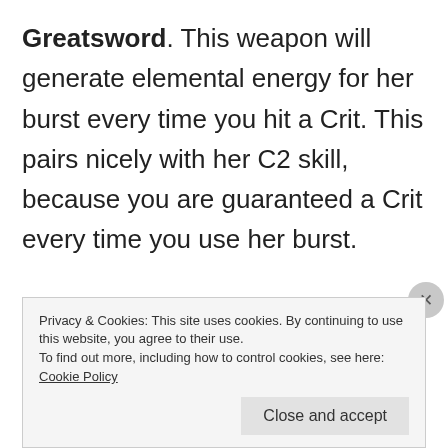Greatsword. This weapon will generate elemental energy for her burst every time you hit a Crit. This pairs nicely with her C2 skill, because you are guaranteed a Crit every time you use her burst.
The Whiteblind or Prototype Aminus are also decent weapons to use if you don't have access to the two above weapons
Privacy & Cookies: This site uses cookies. By continuing to use this website, you agree to their use.
To find out more, including how to control cookies, see here:
Cookie Policy
Close and accept